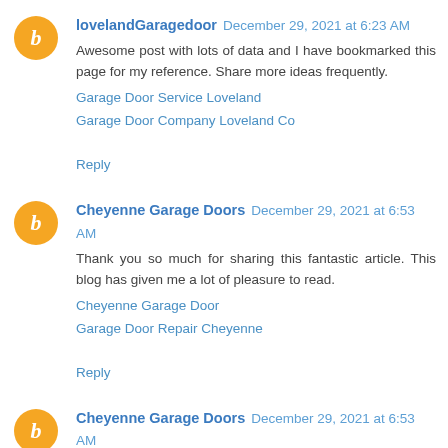lovelandGaragedoor December 29, 2021 at 6:23 AM
Awesome post with lots of data and I have bookmarked this page for my reference. Share more ideas frequently.
Garage Door Service Loveland
Garage Door Company Loveland Co
Reply
Cheyenne Garage Doors December 29, 2021 at 6:53 AM
Thank you so much for sharing this fantastic article. This blog has given me a lot of pleasure to read.
Cheyenne Garage Door
Garage Door Repair Cheyenne
Reply
Cheyenne Garage Doors December 29, 2021 at 6:53 AM
Thank you very much for sharing this wonderful article. This blog has provided me with a lot of enjoyment to read.